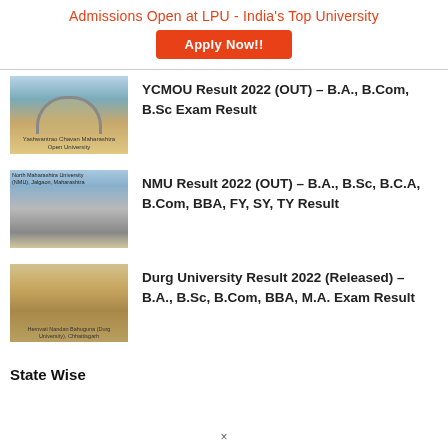Admissions Open at LPU - India's Top University
Apply Now!!
YCMOU Result 2022 (OUT) – B.A., B.Com, B.Sc Exam Result
NMU Result 2022 (OUT) – B.A., B.Sc, B.C.A, B.Com, BBA, FY, SY, TY Result
Durg University Result 2022 (Released) – B.A., B.Sc, B.Com, BBA, M.A. Exam Result
State Wise